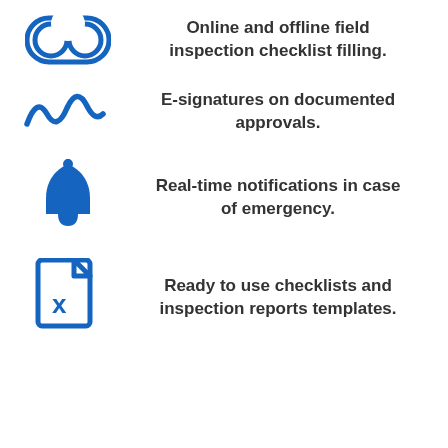Online and offline field inspection checklist filling.
E-signatures on documented approvals.
Real-time notifications in case of emergency.
Ready to use checklists and inspection reports templates.